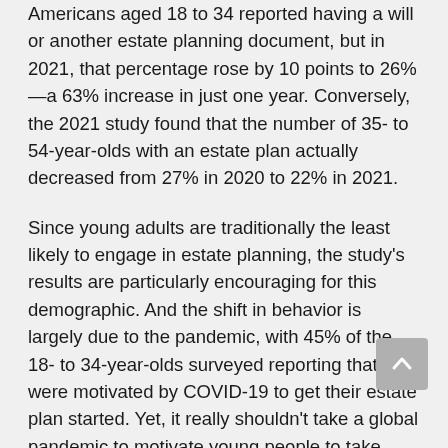Americans aged 18 to 34 reported having a will or another estate planning document, but in 2021, that percentage rose by 10 points to 26%—a 63% increase in just one year. Conversely, the 2021 study found that the number of 35- to 54-year-olds with an estate plan actually decreased from 27% in 2020 to 22% in 2021.
Since young adults are traditionally the least likely to engage in estate planning, the study's results are particularly encouraging for this demographic. And the shift in behavior is largely due to the pandemic, with 45% of the 18- to 34-year-olds surveyed reporting that they were motivated by COVID-19 to get their estate plan started. Yet, it really shouldn't take a global pandemic to motivate young people to take estate planning seriously.
In fact, all adults over age 18 should have some basic estate planning documents in place. And this is true